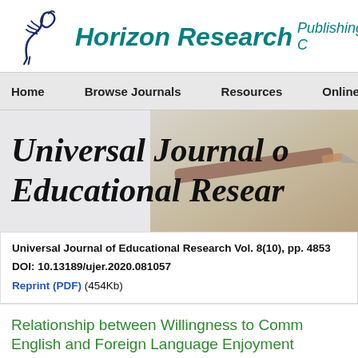[Figure (logo): Horizon Research Publishing logo with stylized horse head icon in dark blue and italic teal text reading 'Horizon Research Publishing C...']
Home    Browse Journals    Resources    Online Su...
[Figure (photo): Universal Journal of Educational Research banner with italic bold serif text over a background photo of a pen on paper]
Universal Journal of Educational Research Vol. 8(10), pp. 4853...
DOI: 10.13189/ujer.2020.081057
Reprint (PDF) (454Kb)
Relationship between Willingness to Comm... English and Foreign Language Enjoyment...